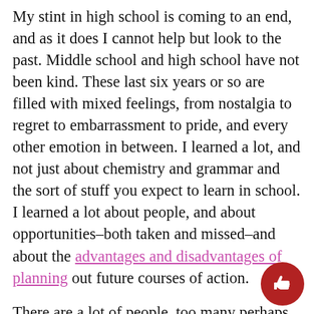My stint in high school is coming to an end, and as it does I cannot help but look to the past. Middle school and high school have not been kind. These last six years or so are filled with mixed feelings, from nostalgia to regret to embarrassment to pride, and every other emotion in between. I learned a lot, and not just about chemistry and grammar and the sort of stuff you expect to learn in school. I learned a lot about people, and about opportunities–both taken and missed–and about the advantages and disadvantages of planning out future courses of action.
There are a lot of people, too many perhaps, who seem to think that teenagers should have a plan for their lives. I do not know how many times I have been asked where I plan to go to college, what I want to be, whether I think I will get married, over the last few years. And certainly, it seems that teenagers are expected to make a lot of arbitrary–but highly